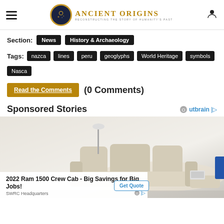Ancient Origins - Reconstructing the story of humanity's past
Section: News History & Archaeology
Tags: nazca lines peru geoglyphs World Heritage symbols Nasca
Read the Comments (0 Comments)
Sponsored Stories
[Figure (photo): Advertisement showing a modern sectional sofa/bed with a pop-up ad for 2022 Ram 1500 Crew Cab - Big Savings for Big Jobs! Get Quote button visible. SWRC Headquarters source shown.]